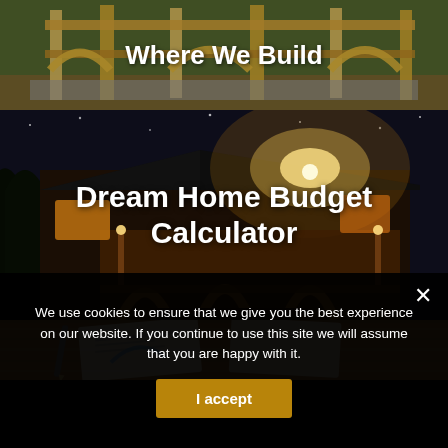[Figure (photo): Timber frame construction site with wooden structure framing visible, trees in background. Overlaid text: 'Where We Build']
[Figure (photo): Log home at night, exterior lit with warm lights, covered porch with arched supports and trees in background. Overlaid text: 'Dream Home Budget Calculator']
[Figure (photo): Close-up of printed infographic document about home building/property on a wooden surface with a pen beside it]
We use cookies to ensure that we give you the best experience on our website. If you continue to use this site we will assume that you are happy with it.
I accept